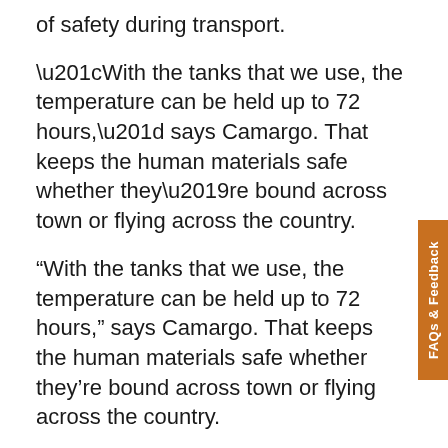of safety during transport.
“With the tanks that we use, the temperature can be held up to 72 hours,” says Camargo. That keeps the human materials safe whether they’re bound across town or flying across the country.
“We do weekly shipments to Boston and New York,” she says. “Those trips usually take 12 to 18 hours. We try to put them on direct flights to reduce that transit time.” But tanks that maintain the deep freeze for 72 hours provide insurance against potential delays.
Each tank comes with a temperature monitoring system that transmits data via Bluetooth to the van driver’s phone. CyroCourier accesses this data via a web portal to make sure the temperature remains correct throughout the trip. A GPS tracker maintains a log of the route.